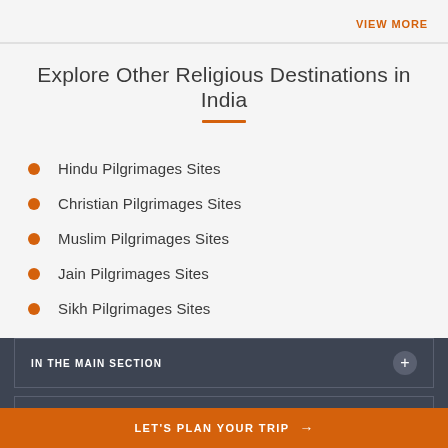VIEW MORE
Explore Other Religious Destinations in India
Hindu Pilgrimages Sites
Christian Pilgrimages Sites
Muslim Pilgrimages Sites
Jain Pilgrimages Sites
Sikh Pilgrimages Sites
IN THE MAIN SECTION
LET'S PLAN YOUR TRIP →